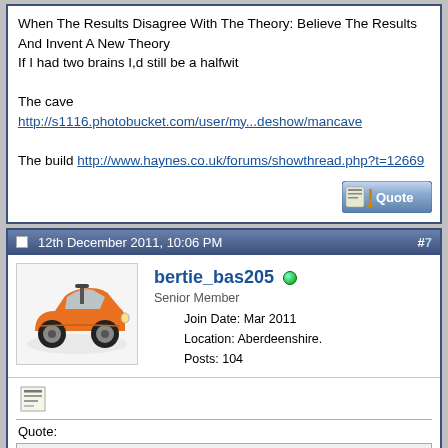When The Results Disagree With The Theory: Believe The Results And Invent A New Theory
If I had two brains I,d still be a halfwit

The cave
http://s1116.photobucket.com/user/my...deshow/mancave

The build http://www.haynes.co.uk/forums/showthread.php?t=12669
[Figure (other): Reply with Quote button]
12th December 2011, 10:06 PM  #7
[Figure (photo): Avatar: cartoon orange sports car (Locost kit car)]
bertie_bas205
Senior Member
Join Date: Mar 2011
Location: Aberdeenshire.
Posts: 104
Quote:
Originally Posted by robo
The guys that build the locosts in the states are all messing with yank lumps and 350hp would be pretty much standard running for them, so dont worry to much about it.

http://www.youtube.com/watch?v=ZhNUG3t3NRU